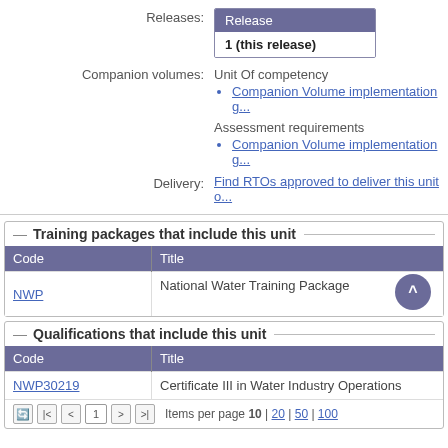Releases: 1 (this release)
Companion volumes: Unit Of competency
Companion Volume implementation g...
Assessment requirements
Companion Volume implementation g...
Delivery: Find RTOs approved to deliver this unit o...
Training packages that include this unit
| Code | Title |
| --- | --- |
| NWP | National Water Training Package |
Qualifications that include this unit
| Code | Title |
| --- | --- |
| NWP30219 | Certificate III in Water Industry Operations |
Items per page 10 | 20 | 50 | 100